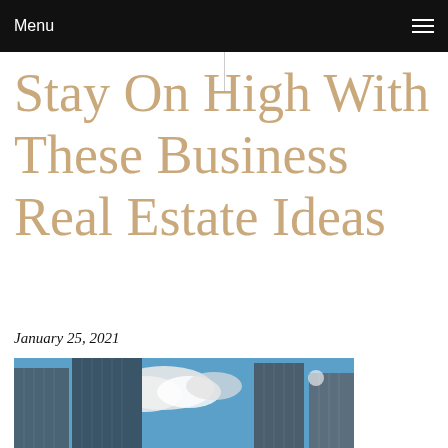Menu
Stay On High With These Business Real Estate Ideas
January 25, 2021
[Figure (photo): Upward view of modern glass skyscrapers against a blue sky with clouds]